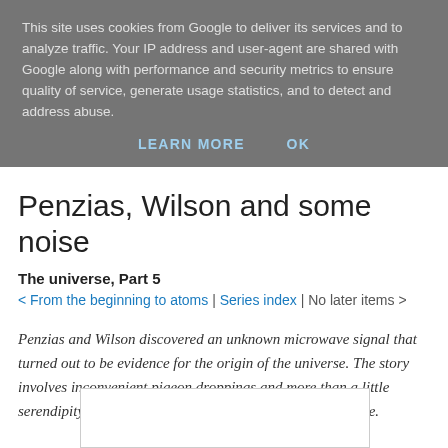This site uses cookies from Google to deliver its services and to analyze traffic. Your IP address and user-agent are shared with Google along with performance and security metrics to ensure quality of service, generate usage statistics, and to detect and address abuse.
LEARN MORE | OK
Penzias, Wilson and some noise
The universe, Part 5
< From the beginning to atoms | Series index | No later items >
Penzias and Wilson discovered an unknown microwave signal that turned out to be evidence for the origin of the universe. The story involves inconvenient pigeon droppings and more than a little serendipity. It ends with a Nobel Prize for physics and fame.
[Figure (other): Partial image visible at bottom of page]